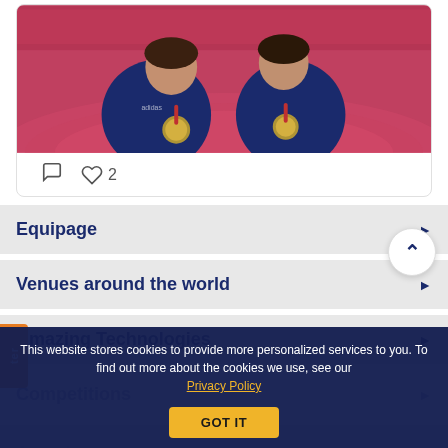[Figure (photo): Two athletes in dark blue/navy jackets holding Olympic medals, posing together in front of a red running track and stadium crowd]
♡ 2
Equipage
Venues around the world
Amazing Technologies
Competitions
Awards
This website stores cookies to provide more personalized services to you. To find out more about the cookies we use, see our Privacy Policy
GOT IT